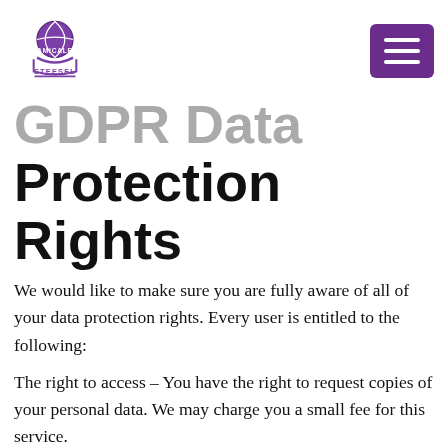Amicale Steesel logo and navigation menu
GDPR Data Protection Rights
We would like to make sure you are fully aware of all of your data protection rights. Every user is entitled to the following:
The right to access – You have the right to request copies of your personal data. We may charge you a small fee for this service.
The right to rectification – You have the right to request that we correct any information you believe is inaccurate. You